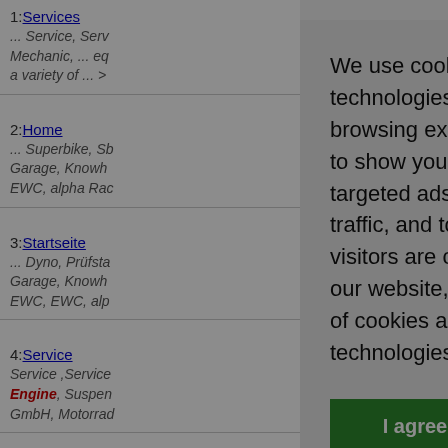1: Services
... Service, Serv Mechanic, ... eq a variety of ... >
2: Home
... Superbike, Sb Garage, Knowh EWC, alpha Rac
3: Startseite
... Dyno, Prüfsta Garage, Knowh EWC, EWC, alp
4: Service
Service ,Service Engine, Suspen GmbH, Motorrad
5: Performance P
... radiator, kit co engine protectio
We use cookies and other tracking technologies to improve your browsing experience on our website, to show you personalized content and targeted ads, to analyze our website traffic, and to understand where our visitors are coming from. By browsing our website, you consent to our use of cookies and other tracking technologies.
I agree
Change my preferences